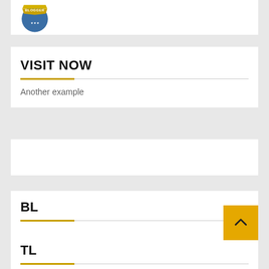[Figure (logo): Blogger badge logo - circular blue badge with gold banner at top reading BLOGGER with stars]
VISIT NOW
Another example
BL
TL
[Figure (other): Gold/yellow back-to-top button with upward caret arrow]